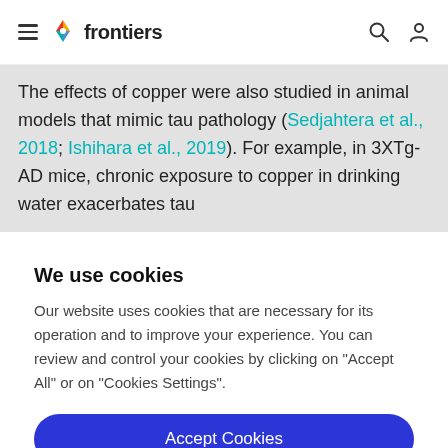frontiers
The effects of copper were also studied in animal models that mimic tau pathology (Sedjahtera et al., 2018; Ishihara et al., 2019). For example, in 3XTg-AD mice, chronic exposure to copper in drinking water exacerbates tau
We use cookies
Our website uses cookies that are necessary for its operation and to improve your experience. You can review and control your cookies by clicking on "Accept All" or on "Cookies Settings".
Accept Cookies
Cookies Settings